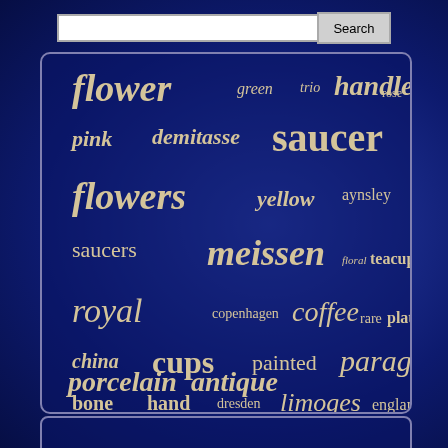[Figure (screenshot): Website search bar with text input and Search button on dark blue background]
[Figure (infographic): Tag cloud on dark blue background with antique china/porcelain related keywords in cream/gold italic text at various sizes: flower, handle, green, trio, rose, pink, demitasse, saucer, flowers, yellow, aynsley, saucers, meissen, floral, teacup, royal, copenhagen, coffee, rare, plate, china, cups, painted, paragon, bone, hand, dresden, limoges, england, gold, vintage, blue, shelley, porcelain, antique]